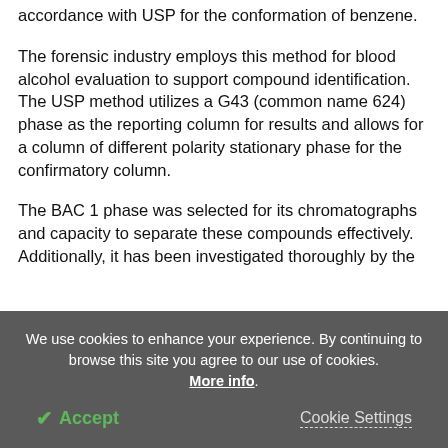accordance with USP for the conformation of benzene.
The forensic industry employs this method for blood alcohol evaluation to support compound identification. The USP method utilizes a G43 (common name 624) phase as the reporting column for results and allows for a column of different polarity stationary phase for the confirmatory column.
The BAC 1 phase was selected for its chromatographs and capacity to separate these compounds effectively. Additionally, it has been investigated thoroughly by the
We use cookies to enhance your experience. By continuing to browse this site you agree to our use of cookies. More info.
✔ Accept
Cookie Settings